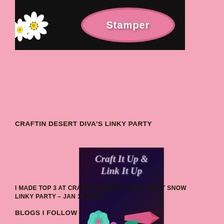[Figure (illustration): Blog header banner with black background, pink oval shape containing text 'Stamper', and white daisy flowers with yellow centers on the left side]
CRAFTIN DESERT DIVA'S LINKY PARTY
[Figure (photo): Craft It Up & Link It Up decorative image with dark background, rhinestones, purple and teal flower, pink ribbon, and glittery text]
I MADE TOP 3 AT CRAFTIN DESERT DIVA'S LET IT SNOW LINKY PARTY – JAN 17, 2016
BLOGS I FOLLOW